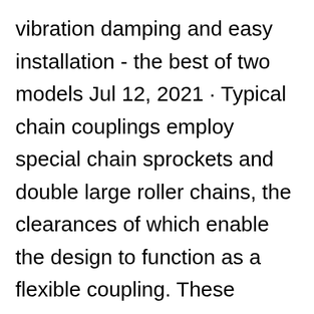vibration damping and easy installation - the best of two models Jul 12, 2021 · Typical chain couplings employ special chain sprockets and double large roller chains, the clearances of which enable the design to function as a flexible coupling. These couplings are electrically isolating. 1 Universal Joints A universal joint is a linkage consisting of two yokes, one on each shaft, connected by spider as shown on Figure 2. You can order only 1 piece with No delivery charge. When fitting the mandrel in the collet, leave 15mm of mandrel from the collet to the mounted bit for ultimate performance. Because shaft run-out or endplay can result in excessive loads on encoder bearings, EPC recommends use of flexible couplings designed for encoder applications. FLEXIBLE SHAFT